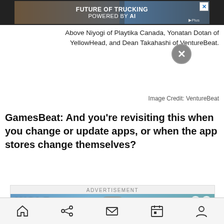[Figure (screenshot): Top advertisement banner showing a truck with text 'FUTURE OF TRUCKING POWERED BY AI' with a close X button]
Above: Niyogi of Playtika Canada, Yonatan Dotan of YellowHead, and Dean Takahashi of VentureBeat.
Image Credit: VentureBeat
GamesBeat: And you're revisiting this when you change or update apps, or when the app stores change themselves?
[Figure (screenshot): Advertisement for Wolf Game: The Wild Kingdom showing three wolves in a snowy/forest environment with the game logo in golden text]
Navigation bar with home, share, mail, calendar, and profile icons